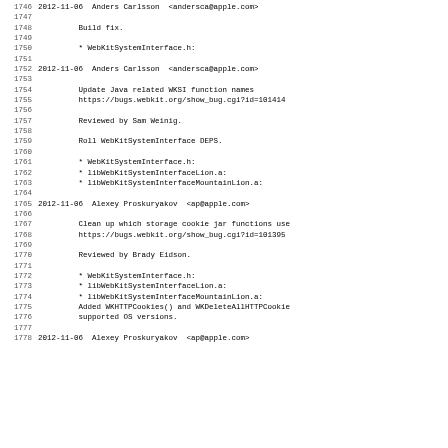1746 2012-11-06  Anders Carlsson  <andersca@apple.com>
1747
1748          Build fix.
1749
1750          * WebKitSystemInterface.h:
1751
1752 2012-11-06  Anders Carlsson  <andersca@apple.com>
1753
1754          Update Java related WKSI function names
1755          https://bugs.webkit.org/show_bug.cgi?id=101414
1756
1757          Reviewed by Sam Weinig.
1758
1759          Roll WebKitSystemInterface DEPS.
1760
1761          * WebKitSystemInterface.h:
1762          * libWebKitSystemInterfaceLion.a:
1763          * libWebKitSystemInterfaceMountainLion.a:
1764
1765 2012-11-06  Alexey Proskuryakov  <ap@apple.com>
1766
1767          Clean up which storage cookie jar functions use
1768          https://bugs.webkit.org/show_bug.cgi?id=101395
1769
1770          Reviewed by Brady Eidson.
1771
1772          * WebKitSystemInterface.h:
1773          * libWebKitSystemInterfaceLion.a:
1774          * libWebKitSystemInterfaceMountainLion.a:
1775          Added WKHTTPCookies() and WKDeleteAllHTTPCookie
1776          supported OS versions.
1777
1778 2012-11-06  Alexey Proskuryakov  <ap@apple.com>